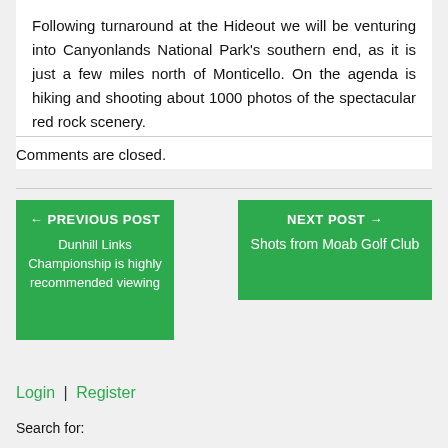Following turnaround at the Hideout we will be venturing into Canyonlands National Park's southern end, as it is just a few miles north of Monticello. On the agenda is hiking and shooting about 1000 photos of the spectacular red rock scenery.
Comments are closed.
← PREVIOUS POST
Dunhill Links Championship is highly recommended viewing
NEXT POST →
Shots from Moab Golf Club
Login | Register
Search for: